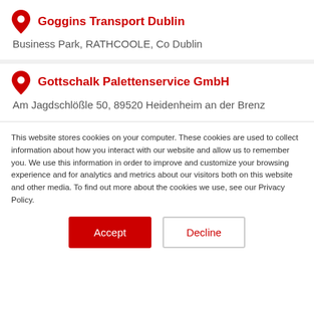Goggins Transport Dublin
Business Park, RATHCOOLE, Co Dublin
Gottschalk Palettenservice GmbH
Am Jagdschlößle 50, 89520 Heidenheim an der Brenz
This website stores cookies on your computer. These cookies are used to collect information about how you interact with our website and allow us to remember you. We use this information in order to improve and customize your browsing experience and for analytics and metrics about our visitors both on this website and other media. To find out more about the cookies we use, see our Privacy Policy.